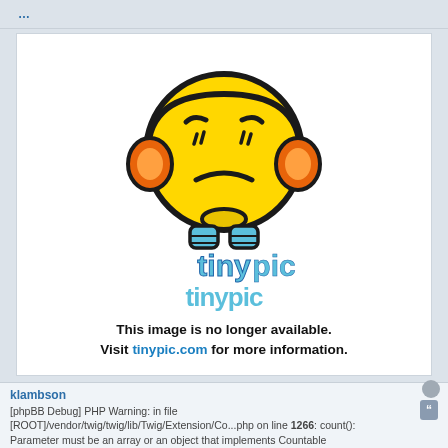[Figure (illustration): Tinypic.com broken image placeholder: a yellow sad-face emoji with orange headphones and blue shoes, with the tinypic logo and text 'This image is no longer available. Visit tinypic.com for more information.']
klambson
[phpBB Debug] PHP Warning: in file [ROOT]/vendor/twig/twig/lib/Twig/Extension/Co...php on line 1266: count(): Parameter must be an array or an object that implements Countable
Re: Solus High Resolution DLP 3D Printer
Wed Dec 03, 2014 3:35 pm